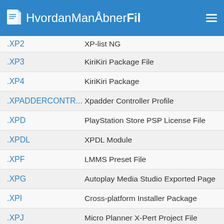HvordanManÅbnerFil
| Extension | Description |
| --- | --- |
| .XP2 | XP-list NG |
| .XP3 | KiriKiri Package File |
| .XP4 | KiriKiri Package |
| .XPADDERCONTR... | Xpadder Controller Profile |
| .XPD | PlayStation Store PSP License File |
| .XPDL | XPDL Module |
| .XPF | LMMS Preset File |
| .XPG | Autoplay Media Studio Exported Page |
| .XPI | Cross-platform Installer Package |
| .XPJ | Micro Planner X-Pert Project File |
| .XPK | WWE RAW Model File |